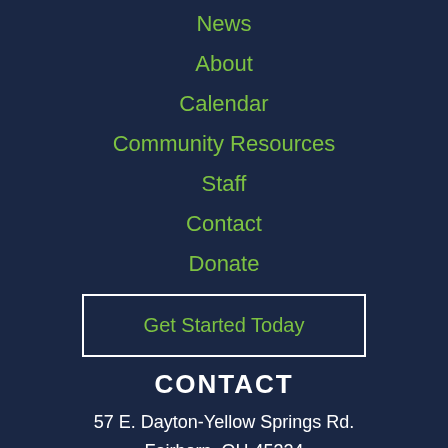News
About
Calendar
Community Resources
Staff
Contact
Donate
Get Started Today
CONTACT
57 E. Dayton-Yellow Springs Rd.
Fairborn, OH 45324